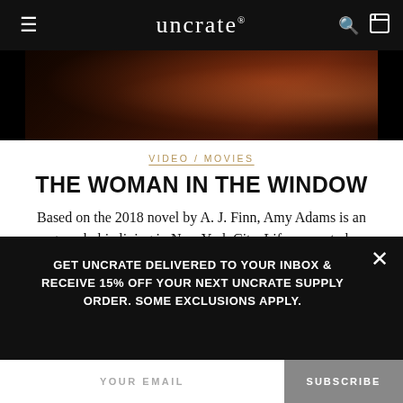uncrate®
[Figure (photo): Dark cinematic still from The Woman in the Window movie, showing figures in dim reddish-brown tones]
VIDEO / MOVIES
THE WOMAN IN THE WINDOW
Based on the 2018 novel by A. J. Finn, Amy Adams is an agoraphobic living in New York City. Life seems to be looking up after she befriends her neighbor but then witnesses her murder from the
GET UNCRATE DELIVERED TO YOUR INBOX & RECEIVE 15% OFF YOUR NEXT UNCRATE SUPPLY ORDER. SOME EXCLUSIONS APPLY.